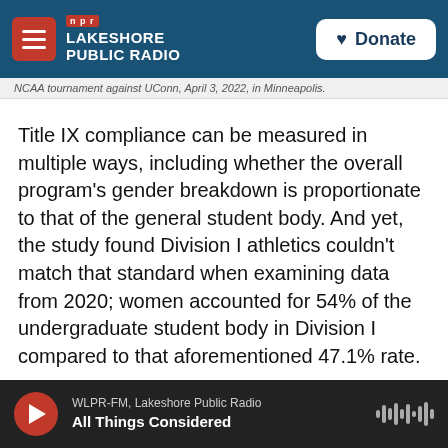NPR | LAKESHORE PUBLIC RADIO | Donate
NCAA tournament against UConn, April 3, 2022, in Minneapolis.
Title IX compliance can be measured in multiple ways, including whether the overall program's gender breakdown is proportionate to that of the general student body. And yet, the study found Division I athletics couldn't match that standard when examining data from 2020; women accounted for 54% of the undergraduate student body in Division I compared to that aforementioned 47.1% rate.
"I think it's enough of a gap that we need to ask
WLPR-FM, Lakeshore Public Radio | All Things Considered